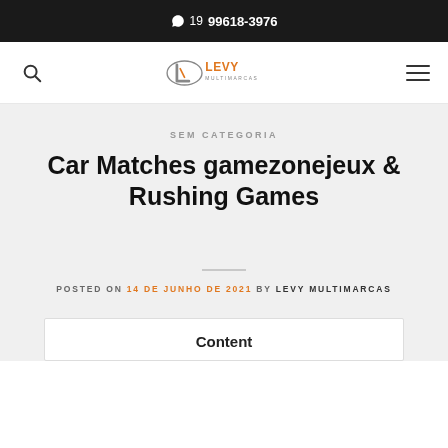19 99618-3976
[Figure (logo): Levy Multimarcas logo with stylized L icon and text LEVY MULTIMARCAS]
SEM CATEGORIA
Car Matches gamezonejeux & Rushing Games
POSTED ON 14 DE JUNHO DE 2021 BY LEVY MULTIMARCAS
Content